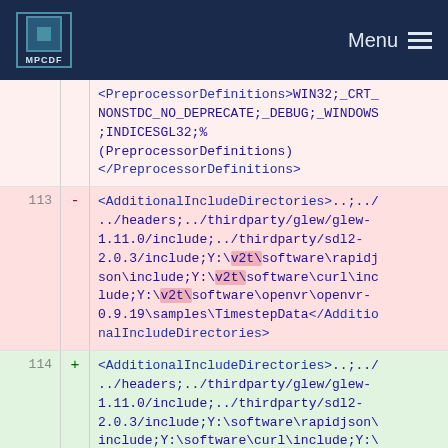MPCDF Menu
<PreprocessorDefinitions>WIN32;_CRT_NONSTDC_NO_DEPRECATE;_DEBUG;_WINDOWS;INDICESGL32;%(PreprocessorDefinitions)</PreprocessorDefinitions>
113 - <AdditionalIncludeDirectories>..;../../headers;../thirdparty/glew/glew-1.11.0/include;../thirdparty/sdl2-2.0.3/include;Y:\v2t\software\rapidjson\include;Y:\v2t\software\curl\include;Y:\v2t\software\openvr\openvr-0.9.19\samples\TimestepData</AdditionalIncludeDirectories>
114 + <AdditionalIncludeDirectories>..;../../headers;../thirdparty/glew/glew-1.11.0/include;../thirdparty/sdl2-2.0.3/include;Y:\software\rapidjson\include;Y:\software\curl\include;Y:\